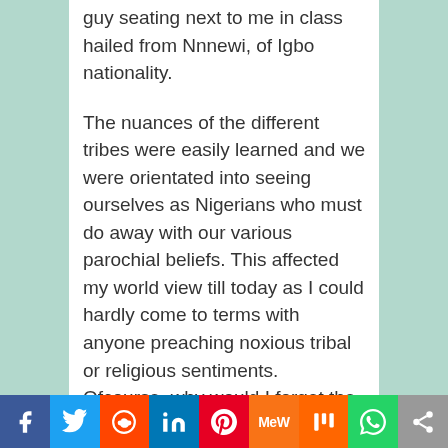guy seating next to me in class hailed from Nnnewi, of Igbo nationality.
The nuances of the different tribes were easily learned and we were orientated into seeing ourselves as Nigerians who must do away with our various parochial beliefs. This affected my world view till today as I could hardly come to terms with anyone preaching noxious tribal or religious sentiments. Ofcourse, why would I forget the rich religious activities that were encouraged in schools. The fear of God was made paramount in the budding hearts of the young lads in school. You either belonged to the FCS (Fellowship of
Social share bar: Facebook, Twitter, Reddit, LinkedIn, Pinterest, MeWe, Mix, WhatsApp, Share